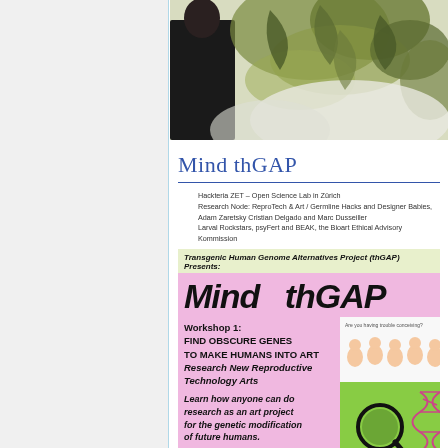[Figure (photo): Photo of a person dressed in dark clothing with green leafy botanical background]
Mind thGAP
Hackteria ZET – Open Science Lab in Zürich
Research Node: ReproTech & Art / Germline Hacks and Designer Babies,
Adam Zaretsky Cristian Delgado and Marc Dusseiller
Larval Rockstars, psyFert and BEAK, the Bioart Ethical Advisory Kommission
[Figure (flyer): Flyer for Mind thGAP workshop event. Transgenic Human Genome Alternatives Project (thGAP) Presents: Mind thGAP. Workshop 1: FIND OBSCURE GENES TO MAKE HUMANS INTO ART Research New Reproductive Technology Arts. Learn how anyone can do research as an art project for the genetic modification of future humans. May 16 Sunday 16-18 CEST]